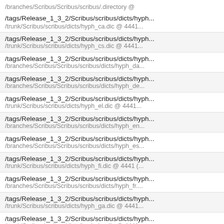/branches/Scribus/Scribus/scribus/.directory @ ...
/tags/Release_1_3_2/Scribus/scribus/dicts/hyph...
/trunk/Scribus/scribus/dicts/hyph_ca.dic @ 4441...
/tags/Release_1_3_2/Scribus/scribus/dicts/hyph...
/trunk/Scribus/scribus/dicts/hyph_cs.dic @ 4441...
/tags/Release_1_3_2/Scribus/scribus/dicts/hyph...
/branches/Scribus/Scribus/scribus/dicts/hyph_da...
/tags/Release_1_3_2/Scribus/scribus/dicts/hyph...
/branches/Scribus/Scribus/scribus/dicts/hyph_de...
/tags/Release_1_3_2/Scribus/scribus/dicts/hyph...
/trunk/Scribus/scribus/dicts/hyph_el.dic @ 4441...
/tags/Release_1_3_2/Scribus/scribus/dicts/hyph...
/branches/Scribus/Scribus/scribus/dicts/hyph_en...
/tags/Release_1_3_2/Scribus/scribus/dicts/hyph...
/branches/Scribus/Scribus/scribus/dicts/hyph_es...
/tags/Release_1_3_2/Scribus/scribus/dicts/hyph...
/trunk/Scribus/scribus/dicts/hyph_fi.dic @ 4441 (...
/tags/Release_1_3_2/Scribus/scribus/dicts/hyph...
/branches/Scribus/Scribus/scribus/dicts/hyph_fr....
/tags/Release_1_3_2/Scribus/scribus/dicts/hyph...
/trunk/Scribus/scribus/dicts/hyph_ga.dic @ 4441...
/tags/Release_1_3_2/Scribus/scribus/dicts/hyph...
/trunk/Scribus/scribus/dicts/hyph_hu.dic @ 4441...
/tags/Release_1_3_2/Scribus/scribus/dicts/hyph...
/branches/Scribus/Scribus/scribus/dicts/hyph_it....
/tags/Release_1_3_2/Scribus/scribus/dicts/hyph...
/trunk/Scribus/scribus/dicts/hyph_l... @ 4441...